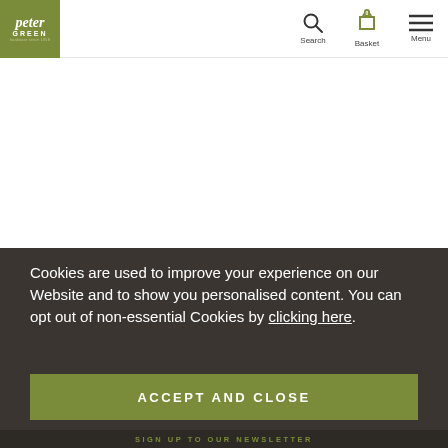[Figure (logo): Peter Green logo - olive/khaki green square with 'peter' in white italic serif and 'GREEN' in white capitals below]
Search  Basket  Menu
Cookies are used to improve your experience on our Website and to show you personalised content. You can opt out of non-essential Cookies by clicking here.
ACCEPT AND CLOSE
SIGN UP TO OUR NEWSLETTER